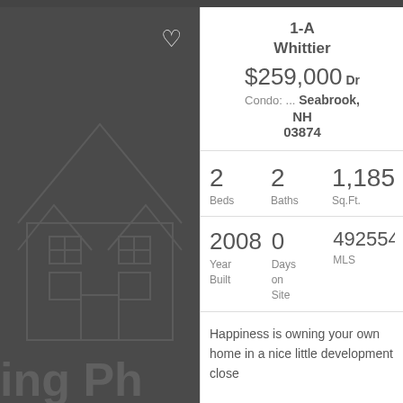[Figure (illustration): Dark gray panel with a house outline illustration (roof, windows, garage) and partial text 'ing Ph' at the bottom. A heart/favorite icon appears in the upper right of the panel.]
1-A Whittier Dr
$259,000
Condo: ... Seabrook, NH 03874
2 Beds  2 Baths  1,185 Sq.Ft.
2008 Year Built  0 Days on Site  4925548 MLS
Happiness is owning your own home in a nice little development close